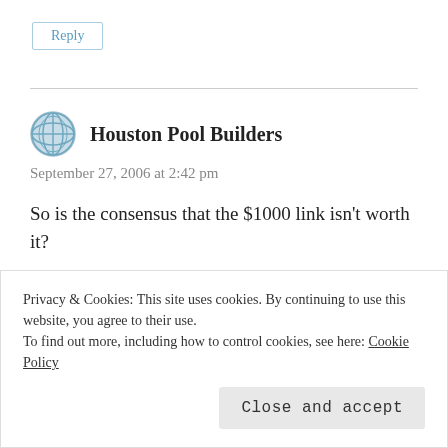Reply
Houston Pool Builders
September 27, 2006 at 2:42 pm
So is the consensus that the $1000 link isn't worth it?
Privacy & Cookies: This site uses cookies. By continuing to use this website, you agree to their use.
To find out more, including how to control cookies, see here: Cookie Policy
Close and accept